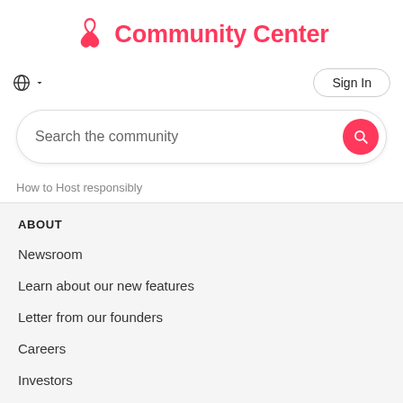Community Center
Sign In
Search the community
How to Host responsibly
ABOUT
Newsroom
Learn about our new features
Letter from our founders
Careers
Investors
Airbnb Luxe